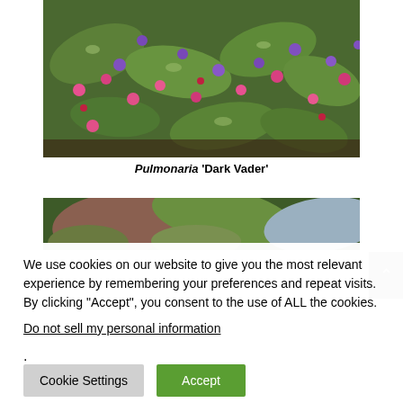[Figure (photo): Close-up photo of Pulmonaria 'Dark Vader' plant with pink and purple flowers and spotted green leaves]
Pulmonaria 'Dark Vader'
[Figure (photo): Partial photo of another plant, cut off by cookie consent overlay]
We use cookies on our website to give you the most relevant experience by remembering your preferences and repeat visits. By clicking “Accept”, you consent to the use of ALL the cookies.
Do not sell my personal information.
Cookie Settings
Accept